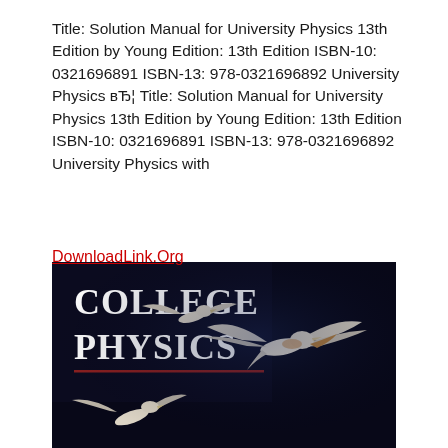Title: Solution Manual for University Physics 13th Edition by Young Edition: 13th Edition ISBN-10: 0321696891 ISBN-13: 978-0321696892 University Physics вЂ¦ Title: Solution Manual for University Physics 13th Edition by Young Edition: 13th Edition ISBN-10: 0321696891 ISBN-13: 978-0321696892 University Physics with
DownloadLink.Org
[Figure (photo): Book cover of 'College Physics' with white birds in flight against a dark blue/black background. The title 'COLLEGE PHYSICS' is displayed in large white serif font with a dark red rule beneath it.]